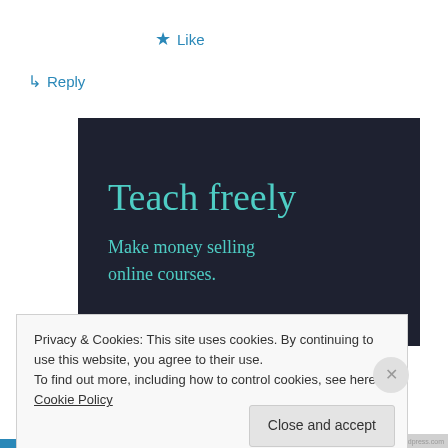★ Like
↳ Reply
[Figure (illustration): Dark navy background advertisement image with teal text reading 'Teach freely' in large serif font, and below 'Make money selling online courses.' in smaller serif font.]
Privacy & Cookies: This site uses cookies. By continuing to use this website, you agree to their use.
To find out more, including how to control cookies, see here: Cookie Policy
Close and accept